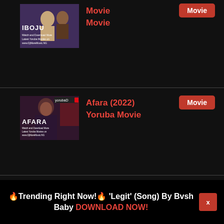[Figure (screenshot): Thumbnail for IBOJU Yoruba movie with text 'Watch and Download More Latest Yoruba Movies on www.DjMoreMusic.NG']
Movie
Movie
[Figure (screenshot): Thumbnail for AFARA (2022) Yoruba movie showing woman, with yorubaD logo]
Afara (2022) Yoruba Movie
Movie
[Figure (screenshot): Thumbnail for IWORA (2022) Yoruba movie showing man in orange shirt]
Iwora (2022) Yoruba Movie
Movie
🔥Trending Right Now!🔥 'Legit' (Song) By Bvsh Baby DOWNLOAD NOW!